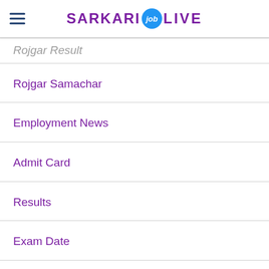SARKARI job LIVE
Rojgar Result
Rojgar Samachar
Employment News
Admit Card
Results
Exam Date
Interview Results
Interview Schedule